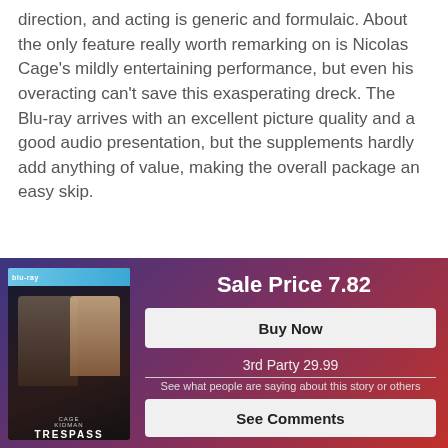direction, and acting is generic and formulaic. About the only feature really worth remarking on is Nicolas Cage's mildly entertaining performance, but even his overacting can't save this exasperating dreck. The Blu-ray arrives with an excellent picture quality and a good audio presentation, but the supplements hardly add anything of value, making the overall package an easy skip.
[Figure (infographic): Product promotion section with gradient background (blue to red). Shows movie Blu-ray cover for 'Trespass' featuring Cage and Kidman on the left. On the right: Sale Price 7.82, Buy Now button, 3rd Party 29.99, See what people are saying about this story or others, See Comments button.]